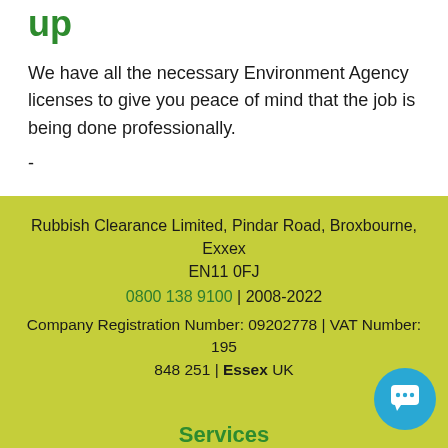up
We have all the necessary Environment Agency licenses to give you peace of mind that the job is being done professionally.
-
Rubbish Clearance Limited, Pindar Road, Broxbourne, Exxex EN11 0FJ
0800 138 9100 | 2008-2022
Company Registration Number: 09202778 | VAT Number: 195 848 251 | Essex UK
Services